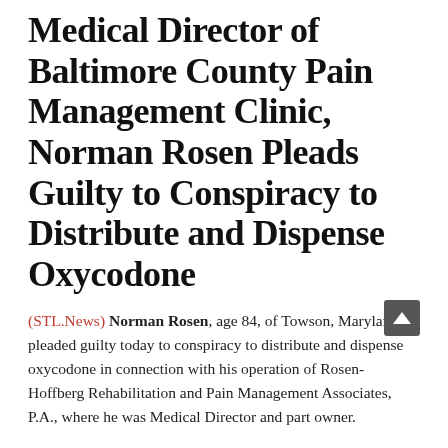Medical Director of Baltimore County Pain Management Clinic, Norman Rosen Pleads Guilty to Conspiracy to Distribute and Dispense Oxycodone
(STL.News) Norman Rosen, age 84, of Towson, Maryland, pleaded guilty today to conspiracy to distribute and dispense oxycodone in connection with his operation of Rosen-Hoffberg Rehabilitation and Pain Management Associates, P.A., where he was Medical Director and part owner.